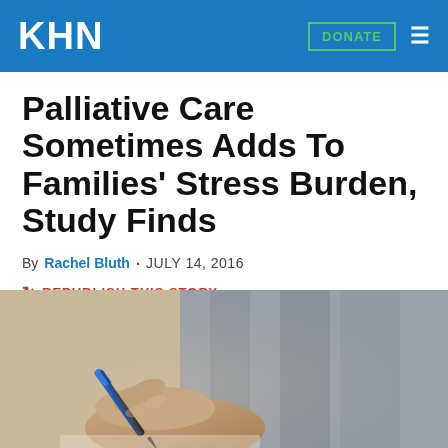KHN
Palliative Care Sometimes Adds To Families’ Stress Burden, Study Finds
By Rachel Bluth · JULY 14, 2016
REPUBLISH THIS STORY
[Figure (photo): Close-up photo of a person's hand holding a blue pen, appearing to write or sign a document, with blurred grey clothing in background]